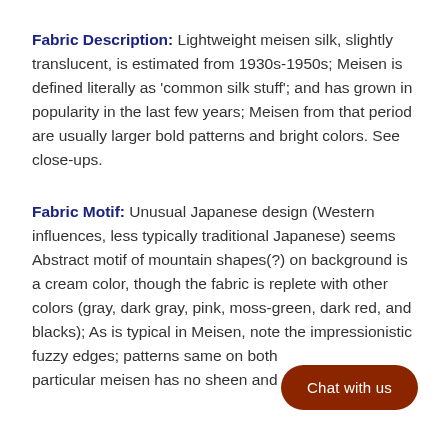Fabric Description:  Lightweight meisen silk, slightly translucent,  is estimated from 1930s-1950s; Meisen is defined literally as 'common silk stuff'; and has grown in popularity in the last few years; Meisen from that period are usually larger bold patterns and bright colors. See close-ups.
Fabric Motif:  Unusual  Japanese design (Western influences, less typically traditional Japanese) seems Abstract motif of mountain shapes(?) on background is a cream color, though the fabric is replete with other colors (gray, dark gray, pink, moss-green, dark red, and blacks);  As is typical in Meisen, note the impressionistic fuzzy edges; patterns same on both [sides;] particular meisen has no sheen and [more...]